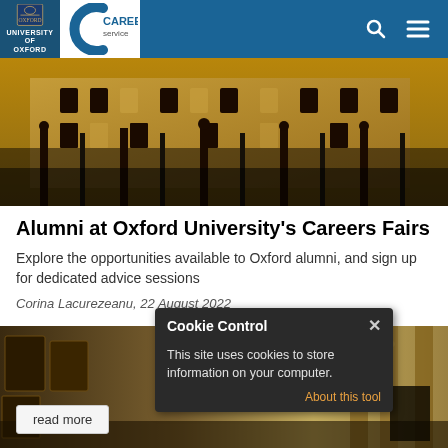[Figure (logo): University of Oxford and Careers Service logos in blue header with search and menu icons]
[Figure (photo): Oxford University building exterior with iron gates in warm golden light]
Alumni at Oxford University's Careers Fairs
Explore the opportunities available to Oxford alumni, and sign up for dedicated advice sessions
Corina Lacurezeanu, 22 August 2022
[Figure (screenshot): Cookie Control dialog box overlay on dark background saying: This site uses cookies to store information on your computer. About this tool]
[Figure (photo): Interior of Oxford building with paintings on wall and architectural columns]